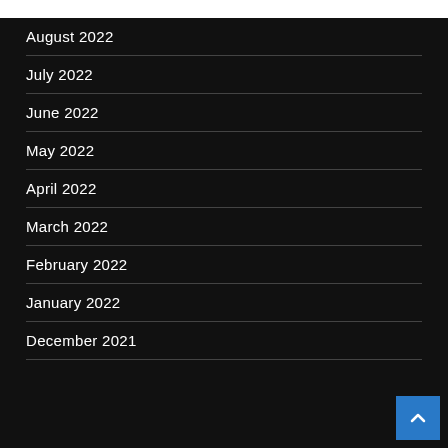August 2022
July 2022
June 2022
May 2022
April 2022
March 2022
February 2022
January 2022
December 2021